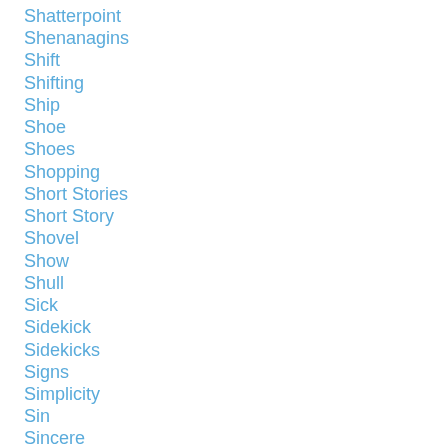Shatterpoint
Shenanagins
Shift
Shifting
Ship
Shoe
Shoes
Shopping
Short Stories
Short Story
Shovel
Show
Shull
Sick
Sidekick
Sidekicks
Signs
Simplicity
Sin
Sincere
Sinners